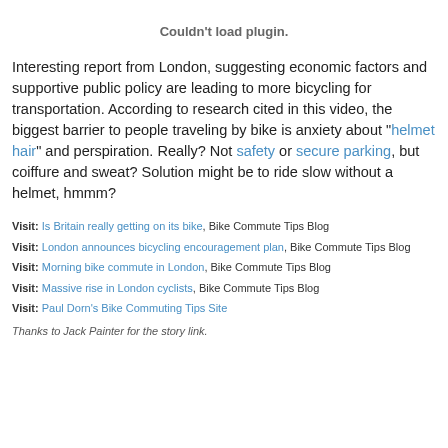Couldn't load plugin.
Interesting report from London, suggesting economic factors and supportive public policy are leading to more bicycling for transportation. According to research cited in this video, the biggest barrier to people traveling by bike is anxiety about "helmet hair" and perspiration. Really? Not safety or secure parking, but coiffure and sweat? Solution might be to ride slow without a helmet, hmmm?
Visit: Is Britain really getting on its bike, Bike Commute Tips Blog
Visit: London announces bicycling encouragement plan, Bike Commute Tips Blog
Visit: Morning bike commute in London, Bike Commute Tips Blog
Visit: Massive rise in London cyclists, Bike Commute Tips Blog
Visit: Paul Dorn's Bike Commuting Tips Site
Thanks to Jack Painter for the story link.